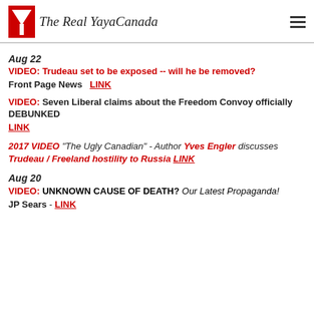The Real YayaCanada
Aug 22
VIDEO: Trudeau set to be exposed -- will he be removed?
Front Page News  LINK
VIDEO: Seven Liberal claims about the Freedom Convoy officially DEBUNKED
LINK
2017 VIDEO "The Ugly Canadian" - Author Yves Engler discusses Trudeau / Freeland hostility to Russia LINK
Aug 20
VIDEO: UNKNOWN CAUSE OF DEATH? Our Latest Propaganda!
JP Sears - LINK